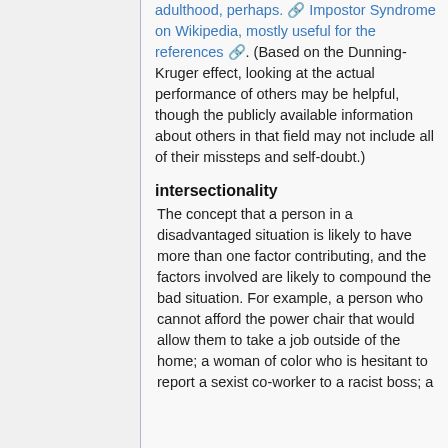adulthood, perhaps. Impostor Syndrome on Wikipedia, mostly useful for the references. (Based on the Dunning-Kruger effect, looking at the actual performance of others may be helpful, though the publicly available information about others in that field may not include all of their missteps and self-doubt.)
intersectionality
The concept that a person in a disadvantaged situation is likely to have more than one factor contributing, and the factors involved are likely to compound the bad situation. For example, a person who cannot afford the power chair that would allow them to take a job outside of the home; a woman of color who is hesitant to report a sexist co-worker to a racist boss; a